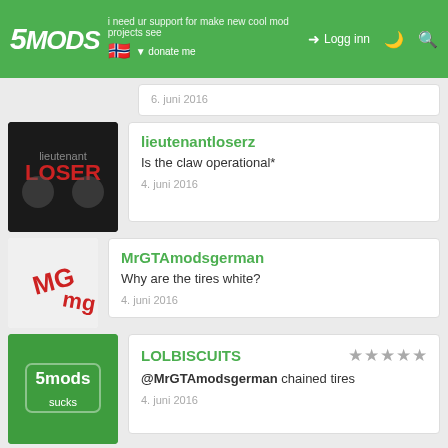5MODS | i need ur support for make new cool mod projects see patreon and donate me | Logg inn
6. juni 2016
lieutenantloserz
Is the claw operational*
4. juni 2016
MrGTAmodsgerman
Why are the tires white?
4. juni 2016
LOLBISCUITS
@MrGTAmodsgerman chained tires
4. juni 2016
ChOcOsKiZo
Wow..!
4. juni 2016